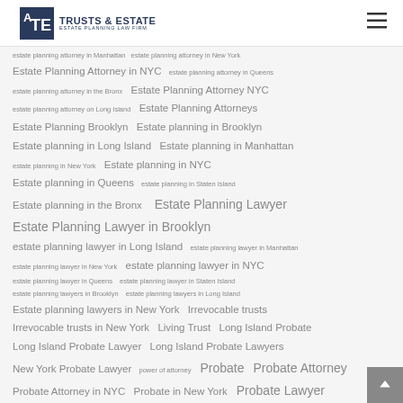TRUSTS & ESTATE ESTATE PLANNING LAW FIRM
estate planning attorney in Manhattan
estate planning attorney in New York
Estate Planning Attorney in NYC
estate planning attorney in Queens
estate planning attorney in the Bronx
Estate Planning Attorney NYC
estate planning attorney on Long Island
Estate Planning Attorneys
Estate Planning Brooklyn
Estate planning in Brooklyn
Estate planning in Long Island
Estate planning in Manhattan
estate planning in New York
Estate planning in NYC
Estate planning in Queens
estate planning in Staten Island
Estate planning in the Bronx
Estate Planning Lawyer
Estate Planning Lawyer in Brooklyn
estate planning lawyer in Long Island
estate planning lawyer in Manhattan
estate planning lawyer in New York
estate planning lawyer in NYC
estate planning lawyer in Queens
estate planning lawyer in Staten Island
estate planning lawyers in Brooklyn
estate planning lawyers in Long Island
Estate planning lawyers in New York
Irrevocable trusts
Irrevocable trusts in New York
Living Trust
Long Island Probate
Long Island Probate Lawyer
Long Island Probate Lawyers
New York Probate Lawyer
power of attorney
Probate
Probate Attorney
Probate Attorney in NYC
Probate in New York
Probate Lawyer
Probate Lawyer Brooklyn
Probate Lawyer in Brooklyn
Probate Lawyer in Long Island
Probate Lawyer in New York